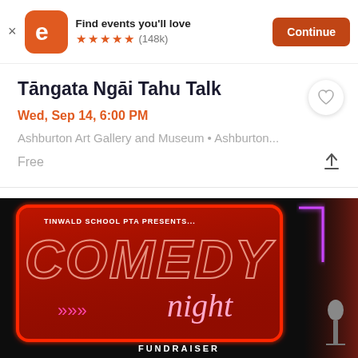[Figure (screenshot): Eventbrite app banner with orange 'e' logo, 'Find events you'll love' text, 5 orange stars, (148k) ratings, and orange 'Continue' button. Below is an event listing for 'Tāngata Ngāi Tahu Talk' on Wed, Sep 14, 6:00 PM at Ashburton Art Gallery and Museum, free. Below that is a Comedy Night Fundraiser promotional image by Tinwald School PTA with neon sign styling on a dark background.]